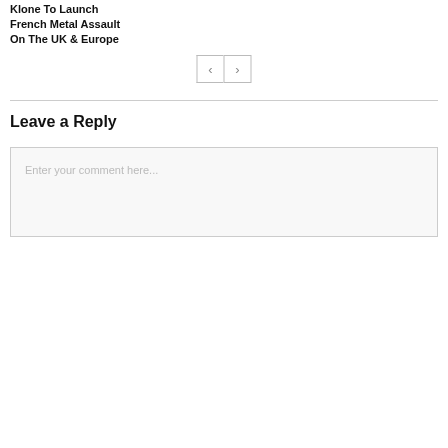Klone To Launch
French Metal Assault
On The UK & Europe
< >
Leave a Reply
Enter your comment here...